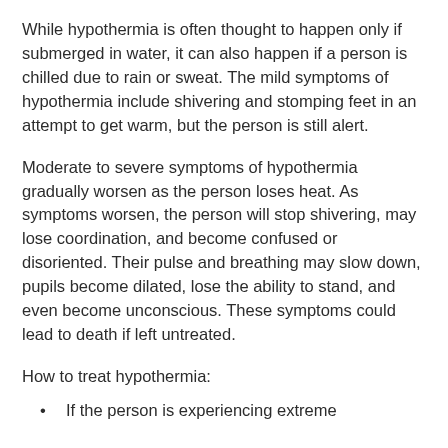While hypothermia is often thought to happen only if submerged in water, it can also happen if a person is chilled due to rain or sweat. The mild symptoms of hypothermia include shivering and stomping feet in an attempt to get warm, but the person is still alert.
Moderate to severe symptoms of hypothermia gradually worsen as the person loses heat. As symptoms worsen, the person will stop shivering, may lose coordination, and become confused or disoriented. Their pulse and breathing may slow down, pupils become dilated, lose the ability to stand, and even become unconscious. These symptoms could lead to death if left untreated.
How to treat hypothermia:
If the person is experiencing extreme